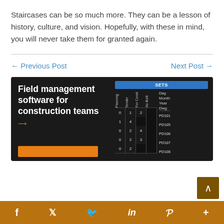Staircases can be so much more. They can be a lesson of history, culture, and vision. Hopefully, with these in mind, you will never take them for granted again.
← Previous Post    Next Post →
[Figure (screenshot): Advertisement for field management software for construction teams showing a dark-themed UI with a SETS table containing planning/tender/for const/as built columns and drawing numbers PD101, PD105, PD106, PD107, PD108]
f  Twitter  Reddit  in  P  More